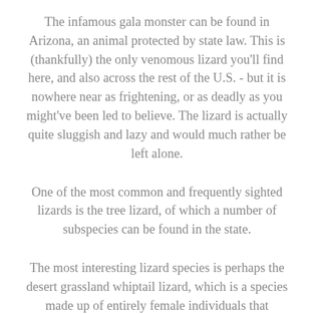The infamous gala monster can be found in Arizona, an animal protected by state law. This is (thankfully) the only venomous lizard you'll find here, and also across the rest of the U.S. - but it is nowhere near as frightening, or as deadly as you might've been led to believe. The lizard is actually quite sluggish and lazy and would much rather be left alone.
One of the most common and frequently sighted lizards is the tree lizard, of which a number of subspecies can be found in the state.
The most interesting lizard species is perhaps the desert grassland whiptail lizard, which is a species made up of entirely female individuals that reproduce through a process called